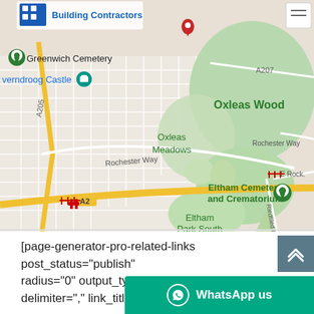[Figure (map): Google Maps screenshot showing area around Eltham, London. Visible landmarks include Greenwich Cemetery, Verndroog Castle, Oxleas Wood, Oxleas Meadows, Eltham Cemetery and Crematorium, Eltham Park South, Rochester Way, A205, A207, A2, E Rock road, Riedfiled Rd. Building Contractors logo visible top left.]
[page-generator-pro-related-links post_status="publish" radius="0" output_type="list_lin delimiter="," link_title="%title%"
[Figure (screenshot): WhatsApp us button (teal/green bar) with WhatsApp circle icon on the right side of the page bottom, and a scroll-up arrow button above it in slate blue.]